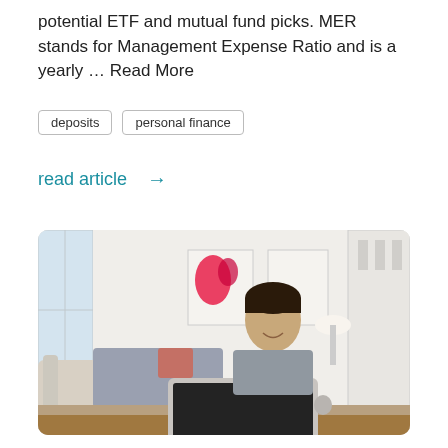potential ETF and mutual fund picks. MER stands for Management Expense Ratio and is a yearly … Read More
deposits
personal finance
read article →
[Figure (photo): Young man smiling while working on a MacBook laptop in a bright living room with artwork on the walls]